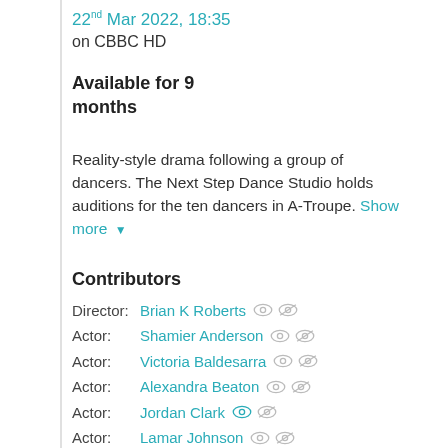22nd Mar 2022, 18:35 on CBBC HD
Available for 9 months
Reality-style drama following a group of dancers. The Next Step Dance Studio holds auditions for the ten dancers in A-Troupe. Show more
Contributors
Director: Brian K Roberts
Actor: Shamier Anderson
Actor: Victoria Baldesarra
Actor: Alexandra Beaton
Actor: Jordan Clark
Actor: Lamar Johnson
Actor: Isaac Lupien
Actor: Jennifer Pappas